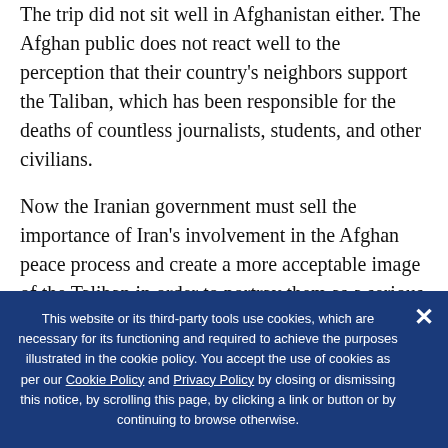The trip did not sit well in Afghanistan either. The Afghan public does not react well to the perception that their country's neighbors support the Taliban, which has been responsible for the deaths of countless journalists, students, and other civilians.
Now the Iranian government must sell the importance of Iran's involvement in the Afghan peace process and create a more acceptable image of the Taliban in order to portray them as a serious negotiating partner.
Its attempts so far have not been very successful
This website or its third-party tools use cookies, which are necessary for its functioning and required to achieve the purposes illustrated in the cookie policy. You accept the use of cookies as per our Cookie Policy and Privacy Policy by closing or dismissing this notice, by scrolling this page, by clicking a link or button or by continuing to browse otherwise.